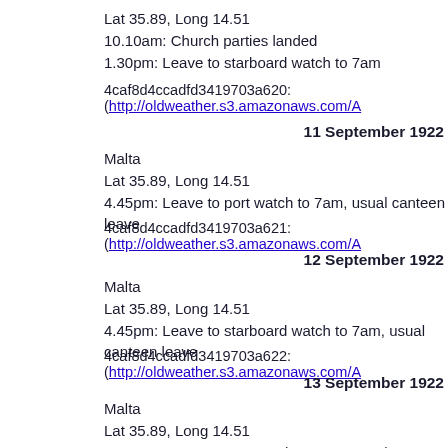Lat 35.89, Long 14.51
10.10am: Church parties landed
1.30pm: Leave to starboard watch to 7am
4caf8d4ccadfd3419703a620: (http://oldweather.s3.amazonaws.com/A
11 September 1922
Malta
Lat 35.89, Long 14.51
4.45pm: Leave to port watch to 7am, usual canteen leave
4caf8d4ccadfd3419703a621: (http://oldweather.s3.amazonaws.com/A
12 September 1922
Malta
Lat 35.89, Long 14.51
4.45pm: Leave to starboard watch to 7am, usual canteen leave
4caf8d4ccadfd3419703a622: (http://oldweather.s3.amazonaws.com/A
13 September 1922
Malta
Lat 35.89, Long 14.51
4.45pm: Leave to port watch to 7am, usual canteen leave
4caf8d4ccadfd3419703a623: (http://oldweather.s3.amazonaws.com/A
14 September 1922
Malta
Lat 35.89, Long 14.51